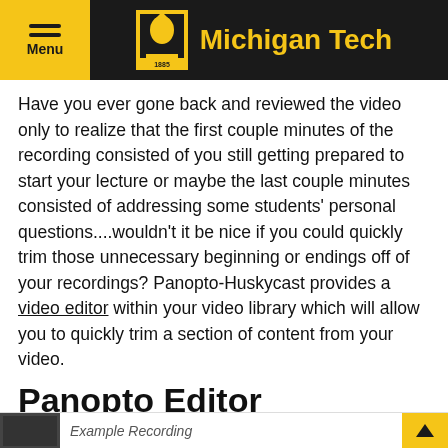Michigan Tech
Have you ever gone back and reviewed the video only to realize that the first couple minutes of the recording consisted of you still getting prepared to start your lecture or maybe the last couple minutes consisted of addressing some students' personal questions....wouldn't it be nice if you could quickly trim those unnecessary beginning or endings off of your recordings? Panopto-Huskycast provides a video editor within your video library which will allow you to quickly trim a section of content from your video.
Panopto Editor
Example Recording